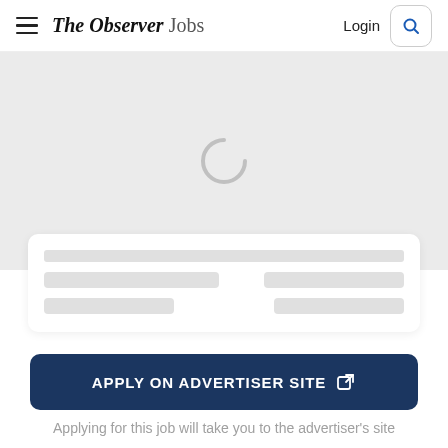The Observer Jobs | Login | Search
[Figure (screenshot): Loading spinner (letter C shape) on a light grey background, representing a loading/placeholder state for a job listing]
[Figure (screenshot): Skeleton loading card with grey placeholder bars arranged in two columns for job listing details]
APPLY ON ADVERTISER SITE
Applying for this job will take you to the advertiser's site